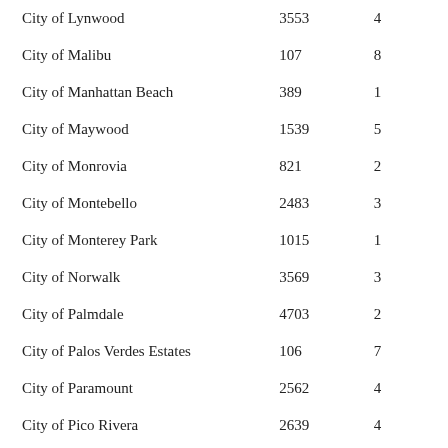| City | Col2 | Col3 |
| --- | --- | --- |
| City of Lynwood | 3553 | 4 |
| City of Malibu | 107 | 8 |
| City of Manhattan Beach | 389 | 1 |
| City of Maywood | 1539 | 5 |
| City of Monrovia | 821 | 2 |
| City of Montebello | 2483 | 3 |
| City of Monterey Park | 1015 | 1 |
| City of Norwalk | 3569 | 3 |
| City of Palmdale | 4703 | 2 |
| City of Palos Verdes Estates | 106 | 7 |
| City of Paramount | 2562 | 4 |
| City of Pico Rivera | 2639 | 4 |
| City of Pomona | 5916 | 3 |
| City of Rancho Palos Verdes | 329 | 7 |